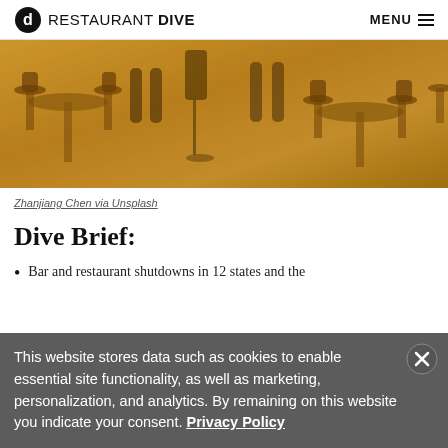RESTAURANT DIVE   MENU
[Figure (photo): Person mopping the floor of an empty restaurant with tables and chairs visible]
Zhanjiang Chen via Unsplash
Dive Brief:
Bar and restaurant shutdowns in 12 states and the
This website stores data such as cookies to enable essential site functionality, as well as marketing, personalization, and analytics. By remaining on this website you indicate your consent. Privacy Policy